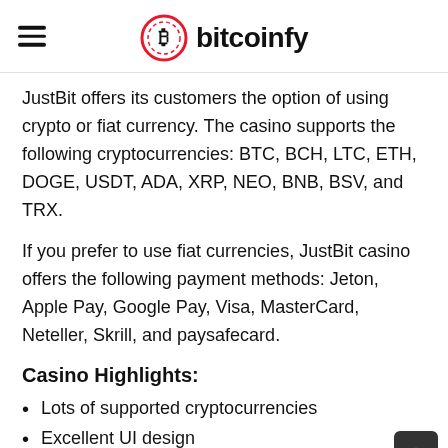bitcoinfy
JustBit offers its customers the option of using crypto or fiat currency. The casino supports the following cryptocurrencies: BTC, BCH, LTC, ETH, DOGE, USDT, ADA, XRP, NEO, BNB, BSV, and TRX.
If you prefer to use fiat currencies, JustBit casino offers the following payment methods: Jeton, Apple Pay, Google Pay, Visa, MasterCard, Neteller, Skrill, and paysafecard.
Casino Highlights:
Lots of supported cryptocurrencies
Excellent UI design
Sportsbook and live betting